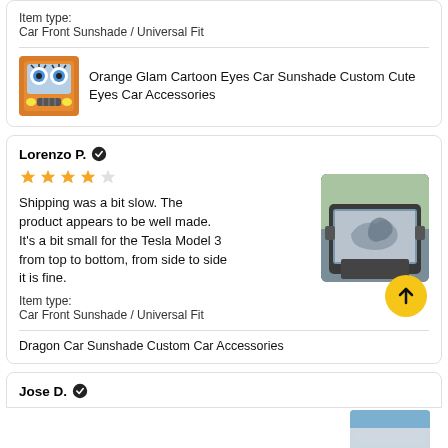Item type:
Car Front Sunshade / Universal Fit
[Figure (photo): Product thumbnail: Orange cartoon eyes car sunshade image]
Orange Glam Cartoon Eyes Car Sunshade Custom Cute Eyes Car Accessories
Lorenzo P. ✓
[Figure (photo): 4 out of 5 stars rating]
Shipping was a bit slow. The product appears to be well made. It's a bit small for the Tesla Model 3 from top to bottom, from side to side it is fine.
Item type:
Car Front Sunshade / Universal Fit
[Figure (photo): Photo of car sunshade installed on Tesla Model 3 windshield, dragon design visible]
Dragon Car Sunshade Custom Car Accessories
Jose D. ✓